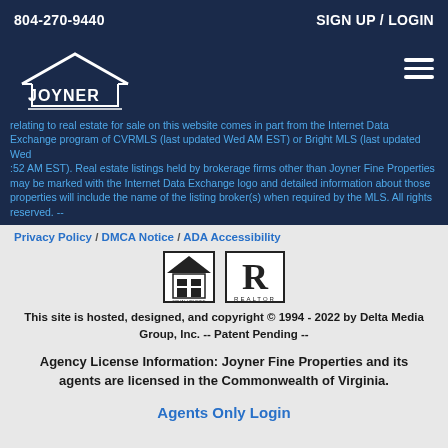804-270-9440  SIGN UP / LOGIN
[Figure (logo): Joyner Fine Properties logo with house roof graphic and text 'JOYNER FINE PROPERTIES']
relating to real estate for sale on this website comes in part from the Internet Data Exchange program of CVRMLS (last updated Wed AM EST) or Bright MLS (last updated Wed :52 AM EST). Real estate listings held by brokerage firms other than Joyner Fine Properties may be marked with the Internet Data Exchange logo and detailed information about those properties will include the name of the listing broker(s) when required by the MLS. All rights reserved. --
Privacy Policy / DMCA Notice / ADA Accessibility
[Figure (logo): Equal Housing Opportunity logo and REALTOR logo side by side]
This site is hosted, designed, and copyright © 1994 - 2022 by Delta Media Group, Inc. -- Patent Pending --
Agency License Information: Joyner Fine Properties and its agents are licensed in the Commonwealth of Virginia.
Agents Only Login